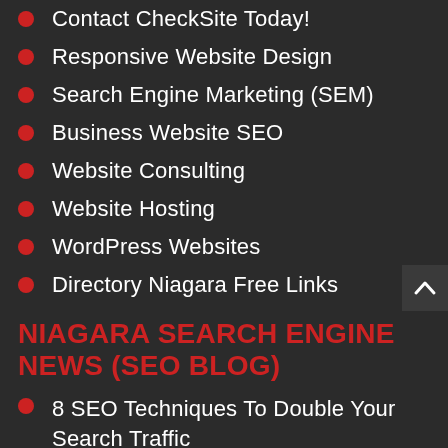Contact CheckSite Today!
Responsive Website Design
Search Engine Marketing (SEM)
Business Website SEO
Website Consulting
Website Hosting
WordPress Websites
Directory Niagara Free Links
NIAGARA SEARCH ENGINE NEWS (SEO BLOG)
8 SEO Techniques To Double Your Search Traffic
Search Engine...